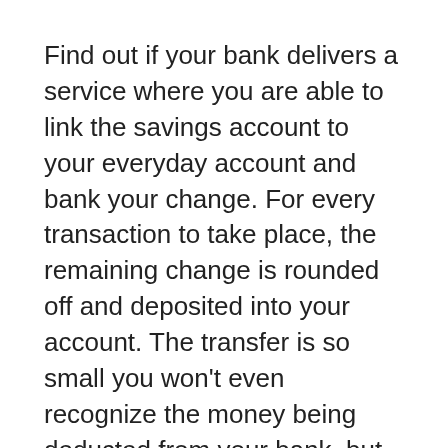Find out if your bank delivers a service where you are able to link the savings account to your everyday account and bank your change. For every transaction to take place, the remaining change is rounded off and deposited into your account. The transfer is so small you won't even recognize the money being deducted from your bank, but given just the right amount of investment time, you will begin to notice your nest egg growing.
Saving money isn't that difficult, you simply need to change your mind set and be positive. Bank any money you find lying around, don't carry cash as we tend to go through cash far quicker than